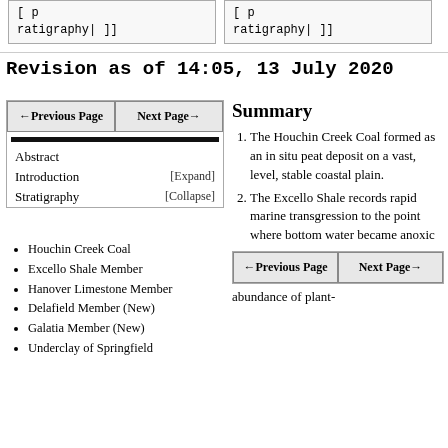ratigraphy[ ]]
ratigraphy[ ]]
Revision as of 14:05, 13 July 2020
| ←Previous Page | Next Page→ |
| --- | --- |
Abstract
Introduction    [Expand]
Stratigraphy    [Collapse]
Houchin Creek Coal
Excello Shale Member
Hanover Limestone Member
Delafield Member (New)
Galatia Member (New)
Underclay of Springfield
Summary
The Houchin Creek Coal formed as an in situ peat deposit on a vast, level, stable coastal plain.
The Excello Shale records rapid marine transgression to the point where bottom water became anoxic
| ←Previous Page | Next Page→ |
| --- | --- |
abundance of plant-